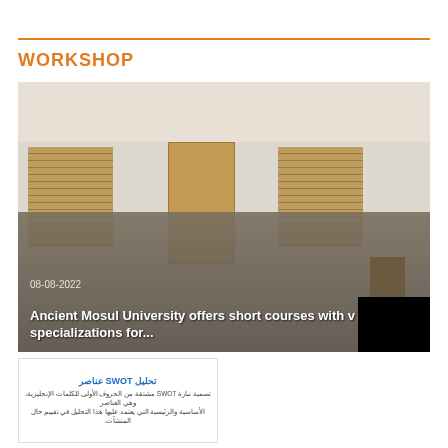WORKSHOP
[Figure (photo): Workshop session at Ancient Mosul University. A presenter stands at a podium on the right while an audience of approximately 30 students and attendees sit facing him in a decorated meeting room with wooden blinds and white walls.]
08-08-2022
Ancient Mosul University offers short courses with various specializations for...
[Figure (other): Small thumbnail card with Arabic text and SWOT analysis title in blue, with Arabic script below.]